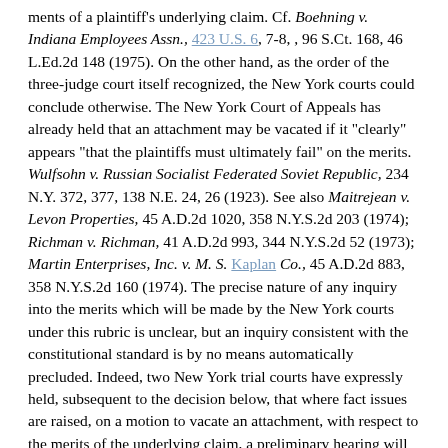ments of a plaintiff's underlying claim. Cf. Boehning v. Indiana Employees Assn., 423 U.S. 6, 7-8, , 96 S.Ct. 168, 46 L.Ed.2d 148 (1975). On the other hand, as the order of the three-judge court itself recognized, the New York courts could conclude otherwise. The New York Court of Appeals has already held that an attachment may be vacated if it "clearly" appears "that the plaintiffs must ultimately fail" on the merits. Wulfsohn v. Russian Socialist Federated Soviet Republic, 234 N.Y. 372, 377, 138 N.E. 24, 26 (1923). See also Maitrejean v. Levon Properties, 45 A.D.2d 1020, 358 N.Y.S.2d 203 (1974); Richman v. Richman, 41 A.D.2d 993, 344 N.Y.S.2d 52 (1973); Martin Enterprises, Inc. v. M. S. Kaplan Co., 45 A.D.2d 883, 358 N.Y.S.2d 160 (1974). The precise nature of any inquiry into the merits which will be made by the New York courts under this rubric is unclear, but an inquiry consistent with the constitutional standard is by no means automatically precluded. Indeed, two New York trial courts have expressly held, subsequent to the decision below, that where fact issues are raised, on a motion to vacate an attachment, with respect to the merits of the underlying claim, a preliminary hearing will be held on those issues. Regnell v. Page, 82 Misc.2d 506, 369 N.Y.S.2d 936 (1975); New York Auction Co. v. Belt, 81 Misc.2d 1032, 368 N.Y.S.2d 98 (1975).